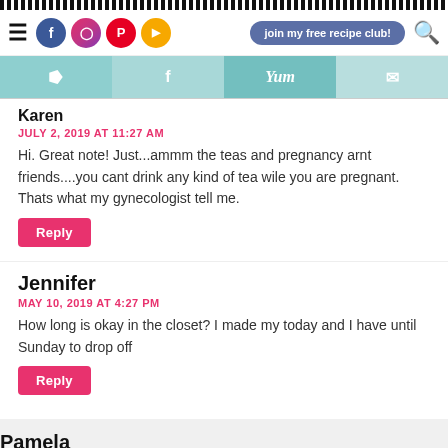Navigation bar with hamburger, social icons (Facebook, Instagram, Pinterest, YouTube), join my free recipe club! button, search icon
[Figure (infographic): Share bar with Pinterest, Facebook, Yum, and email icons in teal tones]
Karen
JULY 2, 2019 AT 11:27 AM
Hi. Great note! Just...ammm the teas and pregnancy arnt friends....you cant drink any kind of tea wile you are pregnant. Thats what my gynecologist tell me.
Reply
Jennifer
MAY 10, 2019 AT 4:27 PM
How long is okay in the closet? I made my today and I have until Sunday to drop off
Reply
Pamela